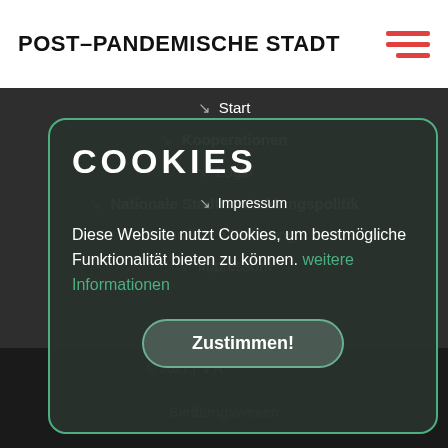POST-PANDEMISCHE STADT
[Figure (infographic): Hamburger menu icon with three red horizontal lines]
↘ Start
↘ Kooperationen
↘ Login
↘ Nationale Stadtentwicklungspolitik
Grundsätze Förderung
↘ Impressum
COOKIES
Diese Website nutzt Cookies, um bestmögliche Funktionalität bieten zu können. weitere Informationen
Zustimmen!
© 2021 | ↘ Bundesministerium des Innern, für Bau und Heimat | Referat SW I 5 – Stadtentwicklung, Städtebaurecht und nationales Siedlungswesen